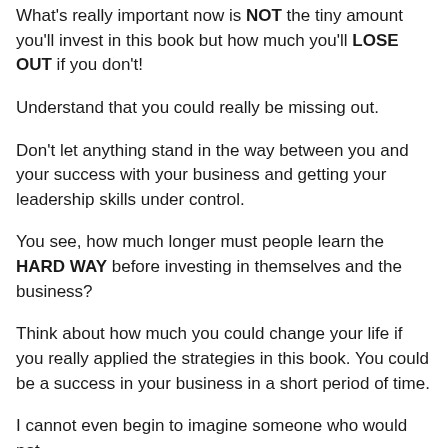What's really important now is NOT the tiny amount you'll invest in this book but how much you'll LOSE OUT if you don't!
Understand that you could really be missing out.
Don't let anything stand in the way between you and your success with your business and getting your leadership skills under control.
You see, how much longer must people learn the HARD WAY before investing in themselves and the business?
Think about how much you could change your life if you really applied the strategies in this book. You could be a success in your business in a short period of time.
I cannot even begin to imagine someone who would not